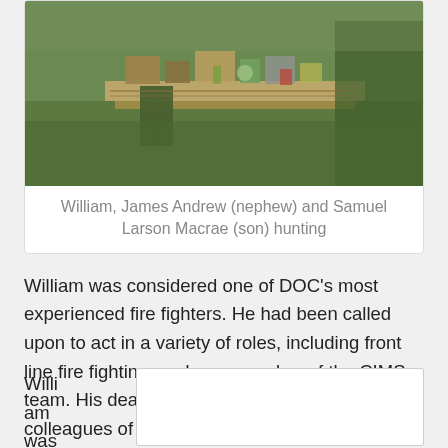[Figure (photo): Outdoor hunting scene showing equipment, boxes and supplies laid out on wooden pallets in grass, with a person visible in green clothing]
William, James Andrew (nephew) and Samuel Larson Macrae (son) hunting
William was considered one of DOC’s most experienced fire fighters. He had been called upon to act in a variety of roles, including front line fire fighting, and as a member of the CIMS team. His death was a harsh reminder to his colleagues of the dangers that sometimes comes with the territory of working for DOC. Certainly, each of us thinks hard before engaging in fire fighting or getting into a helicopter since the accident.
William was